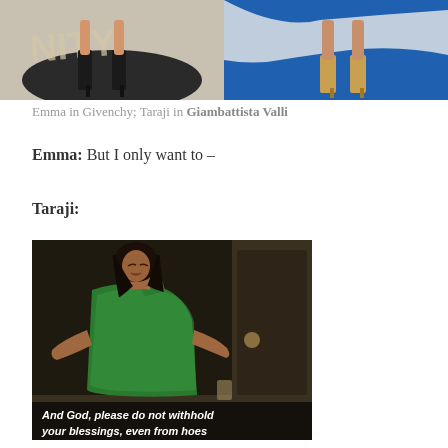[Figure (photo): Two side-by-side images showing feet/shoes of women at an event, one on a dark carpet with black heels, one on a blue carpet with gold heels]
Emma in Givenchy; Taraji in Giambattista Valli
Emma: But I only want to –
Taraji:
[Figure (photo): GIF/image of a woman in a green sequin one-shoulder dress with subtitle text reading 'And God, please do not withhold your blessings, even from hoes']